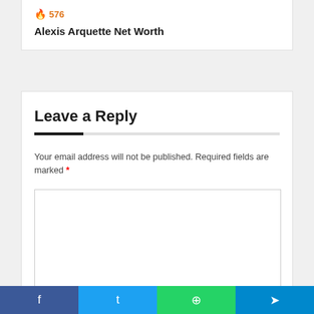🔥 576
Alexis Arquette Net Worth
Leave a Reply
Your email address will not be published. Required fields are marked *
f  t  ⊕  ✈